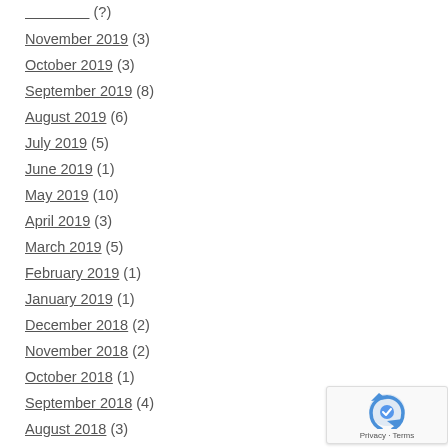(?) [partial, cut off at top]
November 2019 (3)
October 2019 (3)
September 2019 (8)
August 2019 (6)
July 2019 (5)
June 2019 (1)
May 2019 (10)
April 2019 (3)
March 2019 (5)
February 2019 (1)
January 2019 (1)
December 2018 (2)
November 2018 (2)
October 2018 (1)
September 2018 (4)
August 2018 (3)
July 2018 (4)
June 2018 (2)
May 2018 (?) [partial, cut off at bottom]
[Figure (logo): reCAPTCHA Privacy Terms badge]